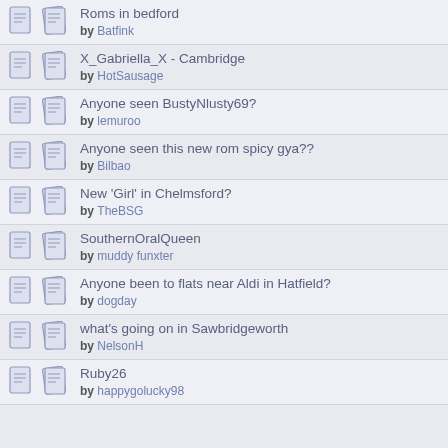Roms in bedford by Batfink
X_Gabriella_X - Cambridge by HotSausage
Anyone seen BustyNlusty69? by lemuroo
Anyone seen this new rom spicy gya?? by Bilbao
New 'Girl' in Chelmsford? by TheBSG
SouthernOralQueen by muddy funxter
Anyone been to flats near Aldi in Hatfield? by dogday
what's going on in Sawbridgeworth by NelsonH
Ruby26 by happygolucky98